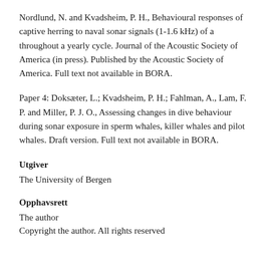Nordlund, N. and Kvadsheim, P. H., Behavioural responses of captive herring to naval sonar signals (1-1.6 kHz) of a throughout a yearly cycle. Journal of the Acoustic Society of America (in press). Published by the Acoustic Society of America. Full text not available in BORA.
Paper 4: Doksæter, L.; Kvadsheim, P. H.; Fahlman, A., Lam, F. P. and Miller, P. J. O., Assessing changes in dive behaviour during sonar exposure in sperm whales, killer whales and pilot whales. Draft version. Full text not available in BORA.
Utgiver
The University of Bergen
Opphavsrett
The author
Copyright the author. All rights reserved